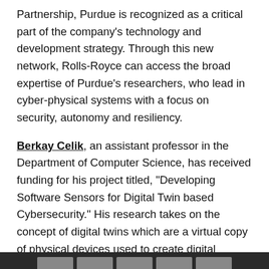Partnership, Purdue is recognized as a critical part of the company's technology and development strategy. Through this new network, Rolls-Royce can access the broad expertise of Purdue's researchers, who lead in cyber-physical systems with a focus on security, autonomy and resiliency.
Berkay Celik, an assistant professor in the Department of Computer Science, has received funding for his project titled, "Developing Software Sensors for Digital Twin based Cybersecurity." His research takes on the concept of digital twins which are a virtual copy of physical devices used to create digital models that update and change alongside their real-life counterparts. His aim is to develop